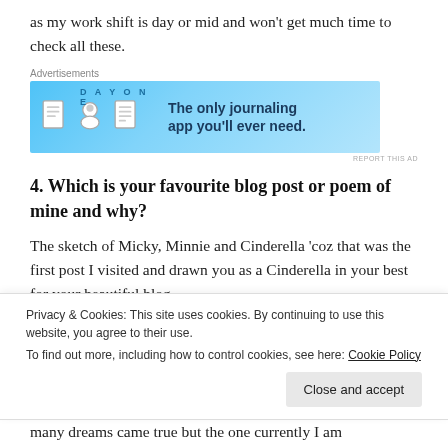as my work shift is day or mid and won't get much time to check all these.
[Figure (other): Advertisement banner for Day One journaling app with blue background, icons of a notebook, person, and document, with text 'DAY ONE' and 'The only journaling app you'll ever need.']
4. Which is your favourite blog post or poem of mine and why?
The sketch of Micky, Minnie and Cinderella 'coz that was the first post I visited and drawn you as a Cinderella in your best for your beautiful blog...
Privacy & Cookies: This site uses cookies. By continuing to use this website, you agree to their use.
To find out more, including how to control cookies, see here: Cookie Policy
many dreams came true but the one currently I am